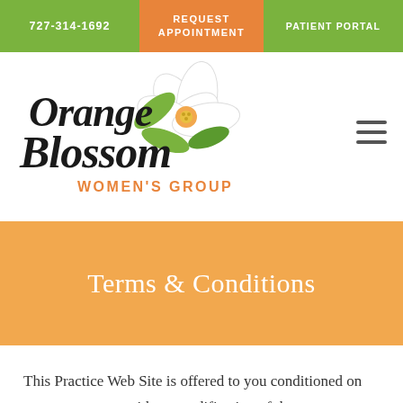727-314-1692 | REQUEST APPOINTMENT | PATIENT PORTAL
[Figure (logo): Orange Blossom Women's Group logo with cursive black text and orange blossom flower illustration with green leaves]
Terms & Conditions
This Practice Web Site is offered to you conditioned on your acceptance without modification of the terms,